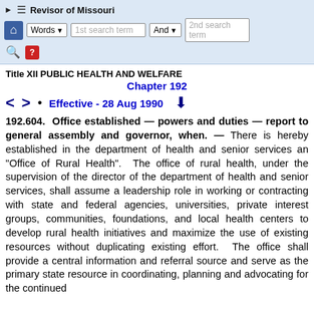Revisor of Missouri
Title XII PUBLIC HEALTH AND WELFARE
Chapter 192
Effective - 28 Aug 1990
192.604.  Office established — powers and duties — report to general assembly and governor, when. — There is hereby established in the department of health and senior services an "Office of Rural Health".  The office of rural health, under the supervision of the director of the department of health and senior services, shall assume a leadership role in working or contracting with state and federal agencies, universities, private interest groups, communities, foundations, and local health centers to develop rural health initiatives and maximize the use of existing resources without duplicating existing effort.  The office shall provide a central information and referral source and serve as the primary state resource in coordinating, planning and advocating for the continued